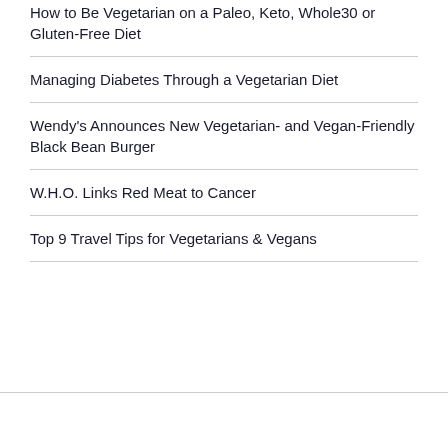How to Be Vegetarian on a Paleo, Keto, Whole30 or Gluten-Free Diet
Managing Diabetes Through a Vegetarian Diet
Wendy's Announces New Vegetarian- and Vegan-Friendly Black Bean Burger
W.H.O. Links Red Meat to Cancer
Top 9 Travel Tips for Vegetarians & Vegans